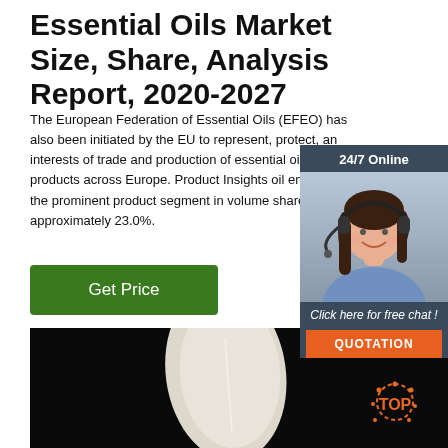Essential Oils Market Size, Share, Analysis Report, 2020-2027
The European Federation of Essential Oils (EFEO) has also been initiated by the EU to represent, protect, and interests of trade and production of essential oils related products across Europe. Product Insights oil emerged as the prominent product segment in volume share of approximately 23.0%.
[Figure (other): Green 'Get Price' button]
[Figure (other): Chat widget with '24/7 Online' header, photo of woman with headset, 'Click here for free chat!' text, and orange QUOTATION button]
[Figure (photo): Dark photo showing a white/cream colored leaf or petal shape on black background with orange sunburst 'TOP' logo in bottom right]